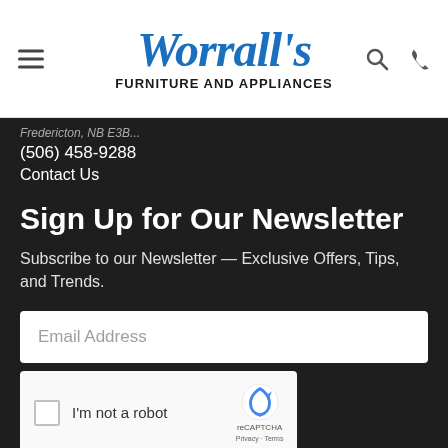Worrall's Furniture and Appliances
(506) 458-9288
Contact Us
Sign Up for Our Newsletter
Subscribe to our Newsletter — Exclusive Offers, Tips, and Trends.
Email Address
[Figure (other): reCAPTCHA widget with checkbox labeled I'm not a robot]